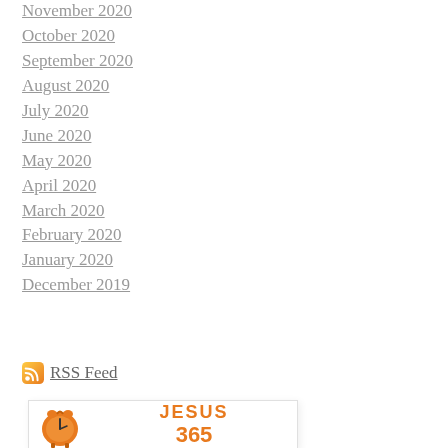November 2020
October 2020
September 2020
August 2020
July 2020
June 2020
May 2020
April 2020
March 2020
February 2020
January 2020
December 2019
RSS Feed
[Figure (illustration): Book cover for JESUS 365 with an orange alarm clock on the left and large orange text reading JESUS 365 on the right, white background]